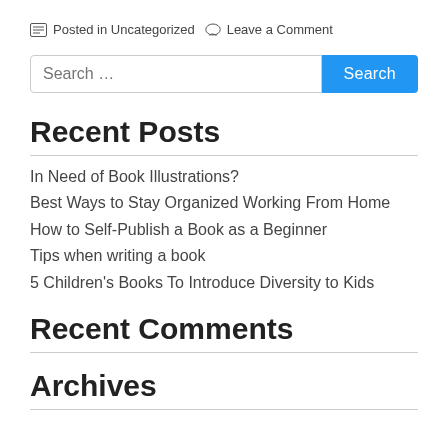Posted in Uncategorized  Leave a Comment
Search …  Search
Recent Posts
In Need of Book Illustrations?
Best Ways to Stay Organized Working From Home
How to Self-Publish a Book as a Beginner
Tips when writing a book
5 Children's Books To Introduce Diversity to Kids
Recent Comments
Archives